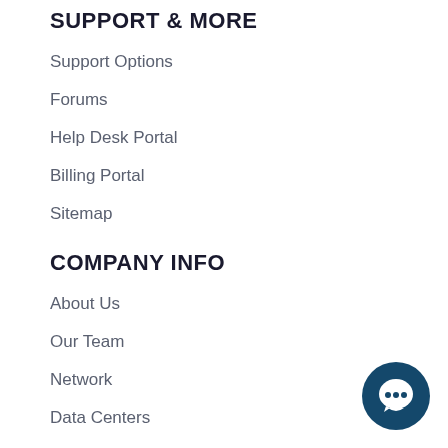SUPPORT & MORE
Support Options
Forums
Help Desk Portal
Billing Portal
Sitemap
COMPANY INFO
About Us
Our Team
Network
Data Centers
LEGAL
Terms Of Service
[Figure (illustration): Dark teal circular chat bubble icon with three dots in the bottom right corner]